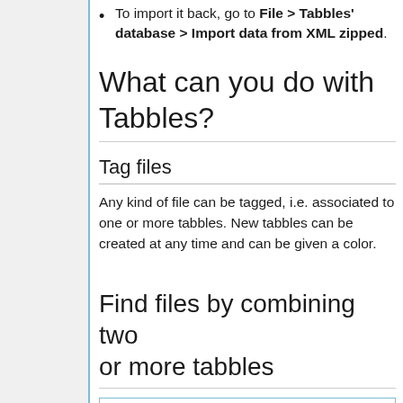To import it back, go to File > Tabbles' database > Import data from XML zipped.
What can you do with Tabbles?
Tag files
Any kind of file can be tagged, i.e. associated to one or more tabbles. New tabbles can be created at any time and can be given a color.
Find files by combining two or more tabbles
[Figure (screenshot): Screenshot showing a tag bar with: T icon, Business Cards + Maurizio + pdf - Old]